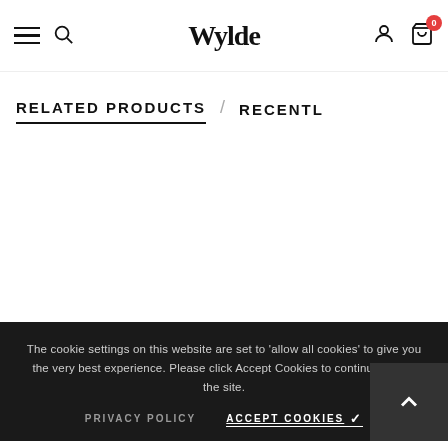Wylde
RELATED PRODUCTS / RECENTLY
The cookie settings on this website are set to 'allow all cookies' to give you the very best experience. Please click Accept Cookies to continue to use the site.
PRIVACY POLICY   ACCEPT COOKIES ✓
ADD TO CART